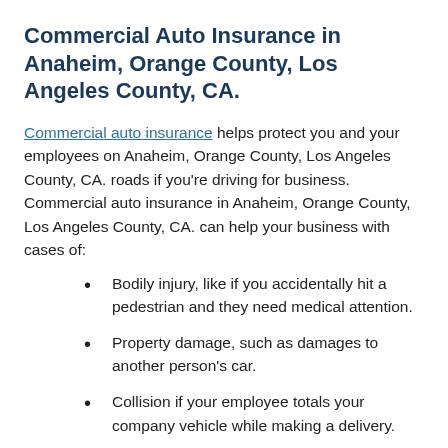Commercial Auto Insurance in Anaheim, Orange County, Los Angeles County, CA.
Commercial auto insurance helps protect you and your employees on Anaheim, Orange County, Los Angeles County, CA. roads if you're driving for business. Commercial auto insurance in Anaheim, Orange County, Los Angeles County, CA. can help your business with cases of:
Bodily injury, like if you accidentally hit a pedestrian and they need medical attention.
Property damage, such as damages to another person's car.
Collision if your employee totals your company vehicle while making a delivery.